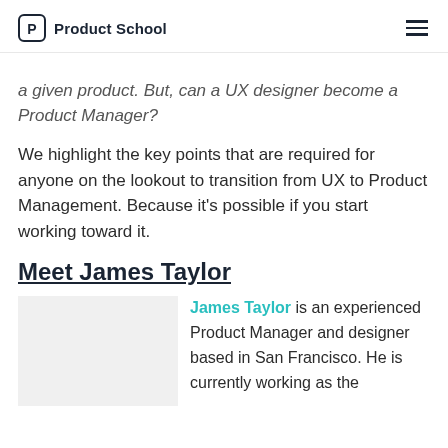Product School
a given product. But, can a UX designer become a Product Manager?
We highlight the key points that are required for anyone on the lookout to transition from UX to Product Management. Because it's possible if you start working toward it.
Meet James Taylor
James Taylor is an experienced Product Manager and designer based in San Francisco. He is currently working as the